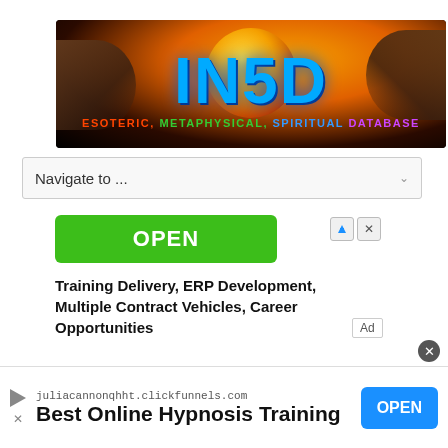[Figure (logo): IN5D banner logo with dark background, orange glowing orb, hands on sides. Text: IN5D in large blue letters. Subtitle: ESOTERIC, METAPHYSICAL, SPIRITUAL DATABASE in multicolor text.]
Navigate to ...
[Figure (screenshot): Green OPEN button advertisement with small ad control icons (triangle and X) in top right.]
Training Delivery, ERP Development, Multiple Contract Vehicles, Career Opportunities
Ad
[Figure (screenshot): Bottom banner ad for juliacannonqhht.clickfunnels.com — Best Online Hypnosis Training. Blue OPEN button on right. Play/close icons on left.]